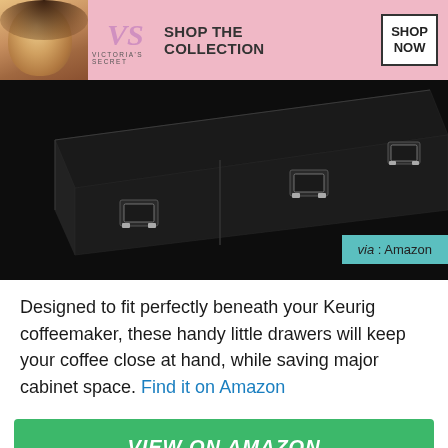[Figure (photo): Victoria's Secret advertisement banner with pink background, showing a woman model on the left, VS logo, 'SHOP THE COLLECTION' text, and 'SHOP NOW' button.]
[Figure (photo): Close-up photograph of a black under-coffee-maker drawer unit with two drawers and chrome-accented handles, on dark background. 'via : Amazon' badge in teal on lower right.]
Designed to fit perfectly beneath your Keurig coffeemaker, these handy little drawers will keep your coffee close at hand, while saving major cabinet space. Find it on Amazon
VIEW ON AMAZON